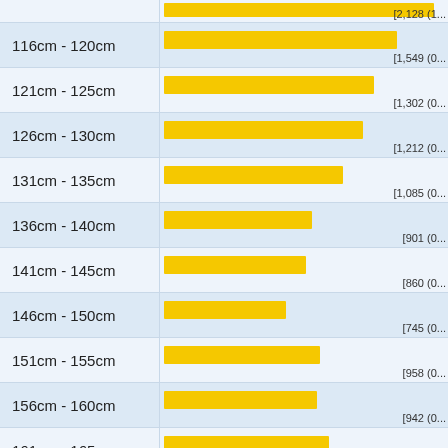[Figure (bar-chart): Height distribution (cm ranges)]